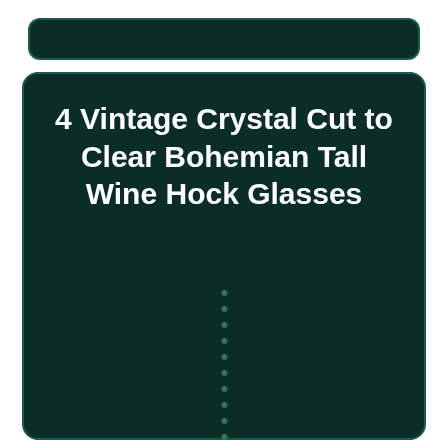4 Vintage Crystal Cut to Clear Bohemian Tall Wine Hock Glasses